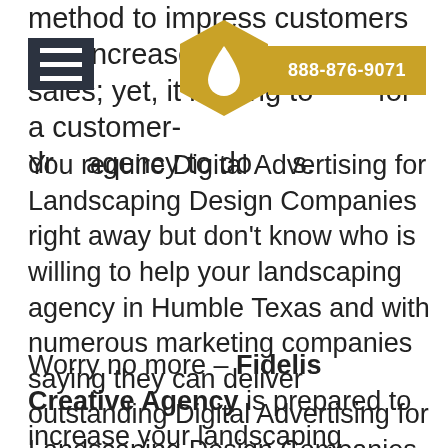method to impress customers and increase sales; yet, it is tiring to look for a customer-driven agency to do this.
[Figure (logo): Hamburger navigation menu icon (dark background with three white horizontal lines) and a gold hexagonal logo with a water drop symbol]
888-876-9071
You require Digital Advertising for Landscaping Design Companies right away but don't know who is willing to help your landscaping agency in Humble Texas and with numerous marketing companies saying they can deliver outstanding Digital Advertising for Landscaping Design Companies – are they capable of doing that?
Worry no more – Fidelis Creative Agency is prepared to increase your landscaping company's profitability!